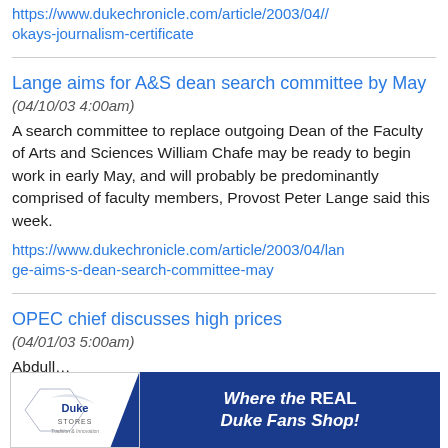https://www.dukechronicle.com/article/2003/04/
okays-journalism-certificate
Lange aims for A&S dean search committee by May
(04/10/03 4:00am)
A search committee to replace outgoing Dean of the Faculty of Arts and Sciences William Chafe may be ready to begin work in early May, and will probably be predominantly comprised of faculty members, Provost Peter Lange said this week.
https://www.dukechronicle.com/article/2003/04/lange-aims-s-dean-search-committee-may
OPEC chief discusses high prices
(04/01/03 5:00am)
Abdull... Organ... and
[Figure (advertisement): Duke Stores advertisement banner reading 'Where the REAL Duke Fans Shop!' with Duke Stores logo on left and blue background on right.]